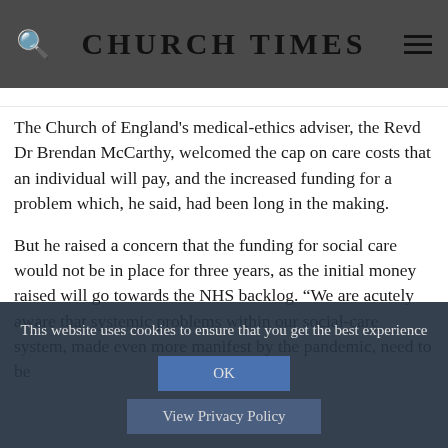CHURCH TIMES
The Church of England's medical-ethics adviser, the Revd Dr Brendan McCarthy, welcomed the cap on care costs that an individual will pay, and the increased funding for a problem which, he said, had been long in the making.
But he raised a concern that the funding for social care would not be in place for three years, as the initial money raised will go towards the NHS backlog. “We are acutely aware that systemic problems within our social-care system, made even more manifest by the pandemic, need to be
This website uses cookies to ensure that you get the best experience
OK
View Privacy Policy